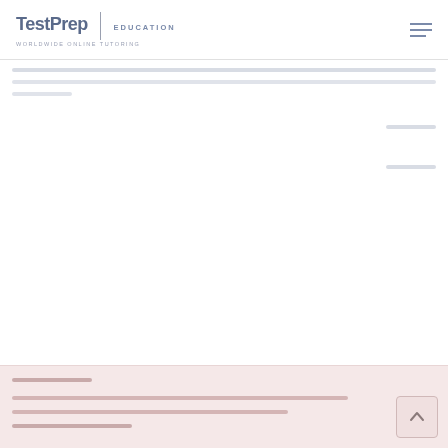TestPrep | EDUCATION — WORLDWIDE ONLINE TUTORING
[Figure (screenshot): Website screenshot of TestPrep Education with navigation header including logo and hamburger menu, content area with placeholder gray bars indicating text/content loading, and a pink/salmon footer section with a scroll-to-top button]